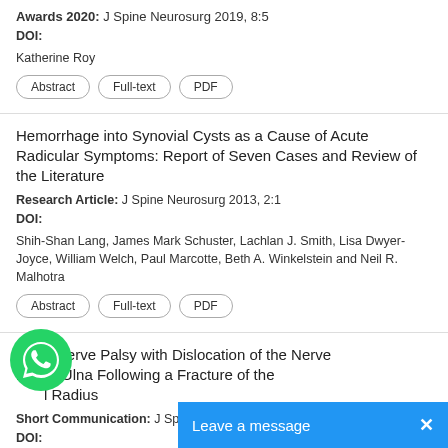Awards 2020: J Spine Neurosurg 2019, 8:5
DOI:
Katherine Roy
Abstract  Full-text  PDF
Hemorrhage into Synovial Cysts as a Cause of Acute Radicular Symptoms: Report of Seven Cases and Review of the Literature
Research Article: J Spine Neurosurg 2013, 2:1
DOI:
Shih-Shan Lang, James Mark Schuster, Lachlan J. Smith, Lisa Dwyer-Joyce, William Welch, Paul Marcotte, Beth A. Winkelstein and Neil R. Malhotra
Abstract  Full-text  PDF
Ulnar Nerve Palsy with Dislocation of the Nerve and the Ulna Following a Fracture of the Distal Radius
Short Communication: J Spine Neurosurg ...
DOI: